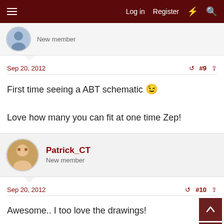Log in  Register
New member
Sep 20, 2012  #9
First time seeing a ABT schematic 😉

Love how many you can fit at one time Zep!
Patrick_CT
New member
Sep 20, 2012  #10
Awesome.. I too love the drawings!
Zephyr